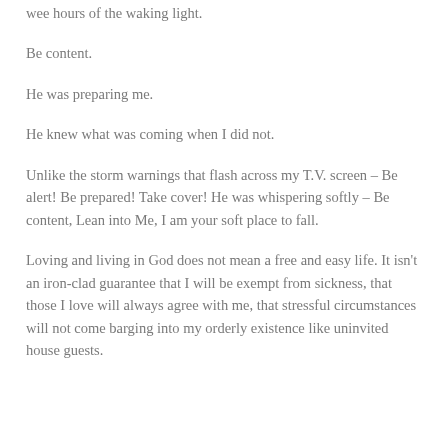wee hours of the waking light.
Be content.
He was preparing me.
He knew what was coming when I did not.
Unlike the storm warnings that flash across my T.V. screen – Be alert! Be prepared! Take cover! He was whispering softly – Be content, Lean into Me, I am your soft place to fall.
Loving and living in God does not mean a free and easy life. It isn't an iron-clad guarantee that I will be exempt from sickness, that those I love will always agree with me, that stressful circumstances will not come barging into my orderly existence like uninvited house guests.